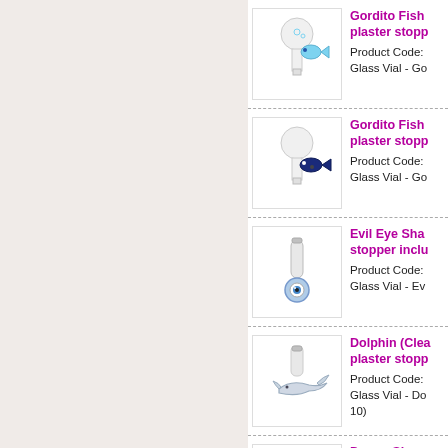[Figure (photo): Glass vial with light blue Gordito fish plaster stopper charm]
Gordito Fish plaster stopp
Product Code:
Glass Vial - Go
[Figure (photo): Glass vial with dark blue Gordito fish plaster stopper charm]
Gordito Fish plaster stopp
Product Code:
Glass Vial - Go
[Figure (photo): Evil Eye shaped stopper glass vial charm with blue eye]
Evil Eye Sha stopper inclu
Product Code:
Glass Vial - Ev
[Figure (photo): Glass vial with clear dolphin plaster stopper charm]
Dolphin (Clea plaster stopp
Product Code:
Glass Vial - Do
10)
[Figure (photo): Glass vial with doggy shaped stopper charm]
Doggy Shape stopper inclu
Product Code:
Glass Vial - Do